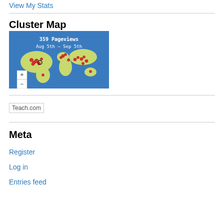View My Stats
[Figure (map): Cluster Map showing 359 Pageviews from Aug 5th – Sep 5th, a world map with red dot markers clustered over North America, Europe, and a few in other regions, with zoom controls (+/-) in the lower left]
Cluster Map
Teach.com
Meta
Register
Log in
Entries feed